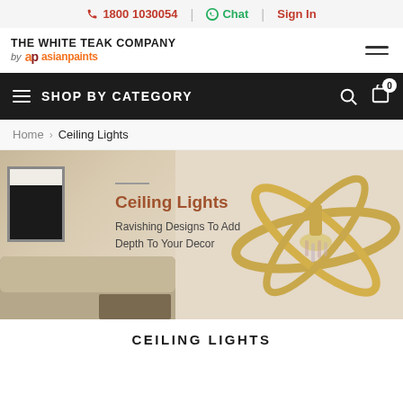1800 1030054 | Chat | Sign In
[Figure (logo): The White Teak Company by ap asianpaints logo with hamburger menu]
SHOP BY CATEGORY
Home > Ceiling Lights
[Figure (photo): Banner image showing ceiling lights category with a golden orbital-ring chandelier on right and living room with sofa and wall art on left. Text overlay: Ceiling Lights - Ravishing Designs To Add Depth To Your Decor]
CEILING LIGHTS